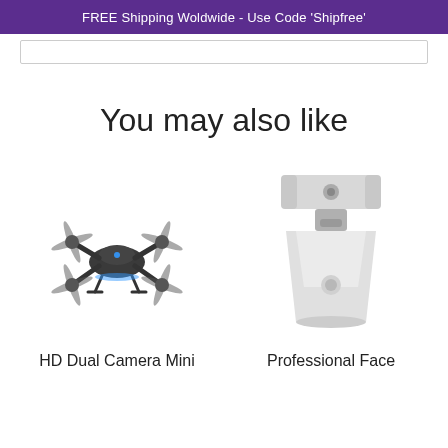FREE Shipping Woldwide - Use Code 'Shipfree'
You may also like
[Figure (photo): HD Dual Camera Mini drone quadcopter with blue LED lights, black color, folded propeller arms]
HD Dual Camera Mini
[Figure (photo): Professional Face tracking phone holder/gimbal stand, white color, with mount clip on top]
Professional Face